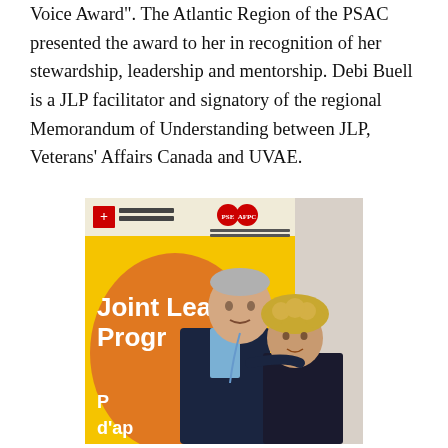Voice Award". The Atlantic Region of the PSAC presented the award to her in recognition of her stewardship, leadership and mentorship. Debi Buell is a JLP facilitator and signatory of the regional Memorandum of Understanding between JLP, Veterans’ Affairs Canada and UVAE.
[Figure (photo): Two people posing for a photo in front of a yellow Joint Learning Program banner. A tall man in a dark suit jacket on the left and a woman with curly hair on the right wearing a dark top. The banner shows the Joint Learning Program / Programme d'apprentissage logo with Government of Canada and PSAC/AFPC logos.]